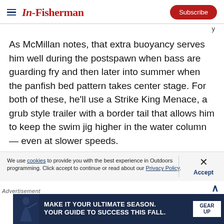In-Fisherman | Subscribe
As McMillan notes, that extra buoyancy serves him well during the postspawn when bass are guarding fry and then later into summer when the panfish bed pattern takes center stage. For both of these, he’ll use a Strike King Menace, a grub style trailer with a border tail that allows him to keep the swim jig higher in the water column — even at slower speeds.
We use cookies to provide you with the best experience in Outdoors programming. Click accept to continue or read about our Privacy Policy.
Advertisement
[Figure (infographic): Advertisement banner: dark navy background with silhouette of hunter/fisherman and text 'MAKE IT YOUR ULTIMATE SEASON. YOUR GUIDE TO SUCCESS THIS FALL.' with GEAR UP button]